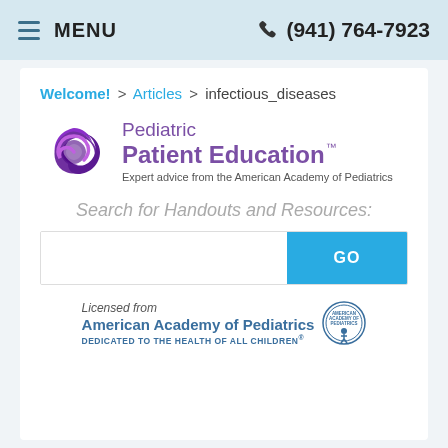MENU  (941) 764-7923
Welcome! > Articles > infectious_diseases
[Figure (logo): Pediatric Patient Education logo with swirl icon. Text: Pediatric Patient Education™. Expert advice from the American Academy of Pediatrics]
Search for Handouts and Resources:
[Figure (other): Search input box with GO button]
[Figure (logo): Licensed from American Academy of Pediatrics. DEDICATED TO THE HEALTH OF ALL CHILDREN® with AAP seal]